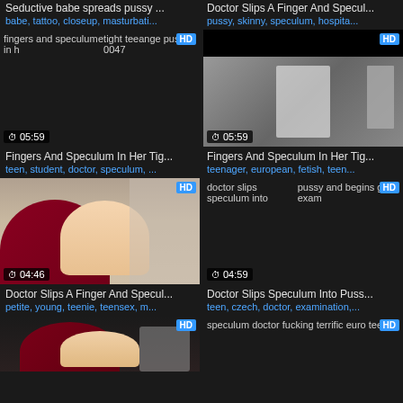Seductive babe spreads pussy ...
babe, tattoo, closeup, masturbati...
Doctor Slips A Finger And Specul...
pussy, skinny, speculum, hospita...
[Figure (photo): Broken image thumbnail with alt text: fingers and speculum in her tight teeange pussy 0047, HD badge, duration 05:59]
[Figure (photo): Video thumbnail showing medical/doctor scene, HD badge, duration 05:59]
Fingers And Speculum In Her Tig...
teen, student, doctor, speculum, ...
Fingers And Speculum In Her Tig...
teenager, european, fetish, teen...
[Figure (photo): Video thumbnail showing doctor scene, HD badge, duration 04:46]
[Figure (photo): Broken image thumbnail with alt text: doctor slips speculum into pussy and begins gyno exam, HD badge, duration 04:59]
Doctor Slips A Finger And Specul...
petite, young, teenie, teensex, m...
Doctor Slips Speculum Into Puss...
teen, czech, doctor, examination,...
[Figure (photo): Video thumbnail partial view, HD badge]
[Figure (photo): Broken image thumbnail with alt text: speculum doctor fucking terrific euro teen, HD badge]